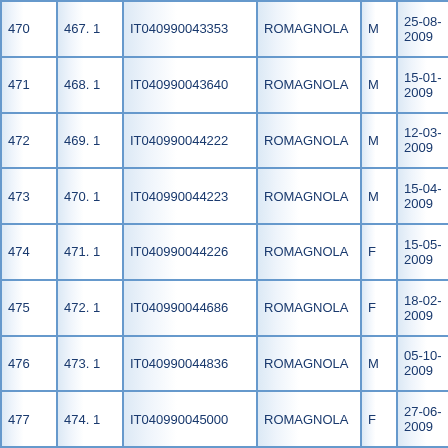| 470 | 467. 1 | IT040990043353 | ROMAGNOLA | M | 25-08-2009 |  |
| 471 | 468. 1 | IT040990043640 | ROMAGNOLA | M | 15-01-2009 |  |
| 472 | 469. 1 | IT040990044222 | ROMAGNOLA | M | 12-03-2009 |  |
| 473 | 470. 1 | IT040990044223 | ROMAGNOLA | M | 15-04-2009 |  |
| 474 | 471. 1 | IT040990044226 | ROMAGNOLA | F | 15-05-2009 |  |
| 475 | 472. 1 | IT040990044686 | ROMAGNOLA | F | 18-02-2009 |  |
| 476 | 473. 1 | IT040990044836 | ROMAGNOLA | M | 05-10-2009 |  |
| 477 | 474. 1 | IT040990045000 | ROMAGNOLA | F | 27-06-2009 |  |